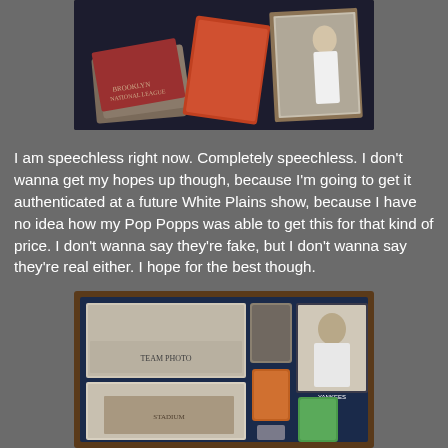[Figure (photo): Photo of vintage baseball cards and memorabilia displayed on a dark surface, including what appears to be old tickets or cards and framed items]
I am speechless right now. Completely speechless. I don't wanna get my hopes up though, because I'm going to get it authenticated at a future White Plains show, because I have no idea how my Pop Popps was able to get this for that kind of price. I don't wanna say they're fake, but I don't wanna say they're real either. I hope for the best though.
[Figure (photo): Photo of a framed shadow box display containing vintage baseball memorabilia including team photos, baseball cards, and a stadium image, with items arranged in a dark blue frame]